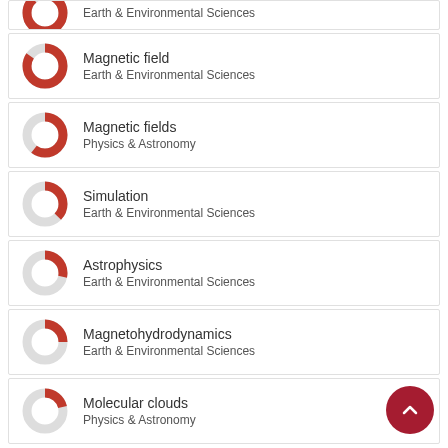Alignment — Earth & Environmental Sciences
Magnetic field — Earth & Environmental Sciences
Magnetic fields — Physics & Astronomy
Simulation — Earth & Environmental Sciences
Astrophysics — Earth & Environmental Sciences
Magnetohydrodynamics — Earth & Environmental Sciences
Molecular clouds — Physics & Astronomy